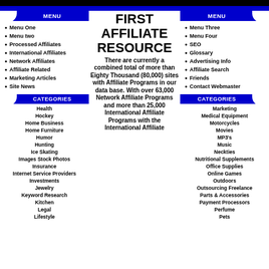FIRST AFFILIATE RESOURCE
MENU (left)
Menu One
Menu two
Processed Affiliates
International Affiliates
Network Affiliates
Affiliate Related
Marketing Articles
Site News
CATEGORIES (left)
Health
Hockey
Home Business
Home Furniture
Humor
Hunting
Ice Skating
Images Stock Photos
Insurance
Internet Service Providers
Investments
Jewelry
Keyword Research
Kitchen
Legal
There are currently a combined total of more than Eighty Thousand (80,000) sites with Affiliate Programs in our data base. With over 63,000 Network Affiliate Programs and more than 25,000 International Affiliate Programs with the International Affiliate
MENU (right)
Menu Three
Menu Four
SEO
Glossary
Advertising Info
Affiliate Search
Friends
Contact Webmaster
CATEGORIES (right)
Marketing
Medical Equipment
Motorcycles
Movies
MP3's
Music
Neckties
Nutritional Supplements
Office Supplies
Online Games
Outdoors
Outsourcing Freelance
Parts & Accessories
Payment Processors
Perfume